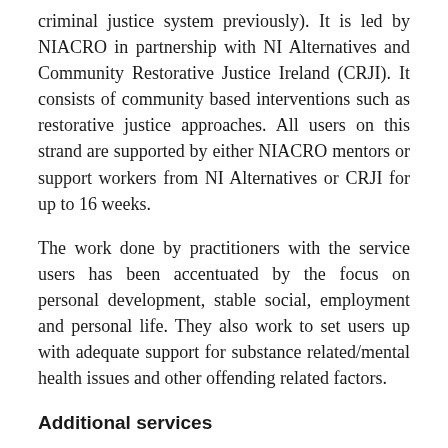criminal justice system previously). It is led by NIACRO in partnership with NI Alternatives and Community Restorative Justice Ireland (CRJI). It consists of community based interventions such as restorative justice approaches. All users on this strand are supported by either NIACRO mentors or support workers from NI Alternatives or CRJI for up to 16 weeks.
The work done by practitioners with the service users has been accentuated by the focus on personal development, stable social, employment and personal life. They also work to set users up with adequate support for substance related/mental health issues and other offending related factors.
Additional services
In May 2020, ASCERT incorporated a specific mental health and addictions therapeutic support service from the established Regional Rapid Response Addiction Service which will have dedicated resources to support clients